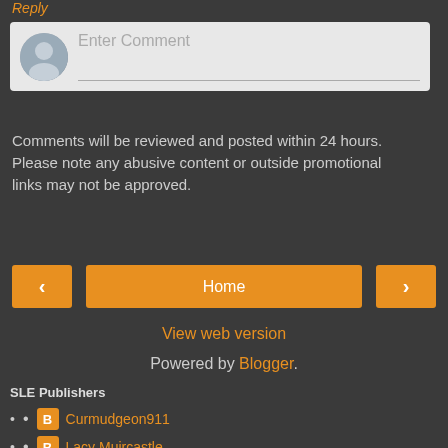Reply
[Figure (other): Comment input box with avatar icon and placeholder text 'Enter Comment']
Comments will be reviewed and posted within 24 hours. Please note any abusive content or outside promotional links may not be approved.
< Home >
View web version
Powered by Blogger.
SLE Publishers
Curmudgeon911
Lacy Muircastle
The SL Enquirer